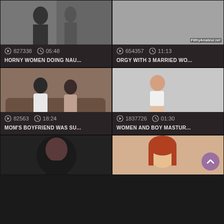[Figure (screenshot): Video thumbnail grid showing adult video listings with view counts, durations, and titles]
827338  05:48
HORNY WOMEN DOING NAU...
654357  11:13
ORGY WITH 3 MARRIED WO...
82563  18:24
MOM'S BOYFRIEND WAS SU...
1837726  01:30
WOMEN AND BOY MASTUR...